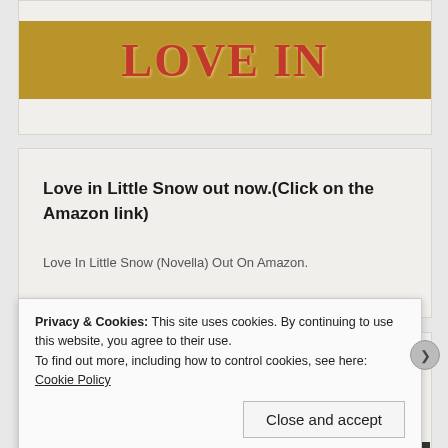[Figure (other): Gold banner with 'LOVE IN' text in large red serif letters on a golden-brown background]
Love in Little Snow out now.(Click on the Amazon link)
Love In Little Snow (Novella) Out On Amazon.
The Flower Angel (Novella)
Privacy & Cookies: This site uses cookies. By continuing to use this website, you agree to their use.
To find out more, including how to control cookies, see here: Cookie Policy
Close and accept